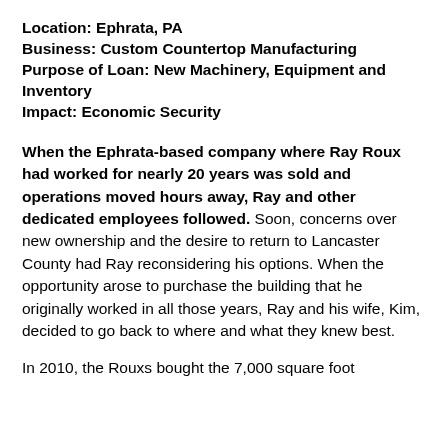Location: Ephrata, PA
Business: Custom Countertop Manufacturing
Purpose of Loan: New Machinery, Equipment and Inventory
Impact: Economic Security
When the Ephrata-based company where Ray Roux had worked for nearly 20 years was sold and operations moved hours away, Ray and other dedicated employees followed. Soon, concerns over new ownership and the desire to return to Lancaster County had Ray reconsidering his options. When the opportunity arose to purchase the building that he originally worked in all those years, Ray and his wife, Kim, decided to go back to where and what they knew best.
In 2010, the Rouxs bought the 7,000 square foot